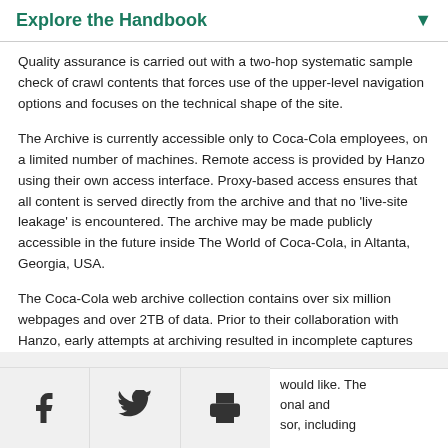Explore the Handbook
Quality assurance is carried out with a two-hop systematic sample check of crawl contents that forces use of the upper-level navigation options and focuses on the technical shape of the site.
The Archive is currently accessible only to Coca-Cola employees, on a limited number of machines. Remote access is provided by Hanzo using their own access interface. Proxy-based access ensures that all content is served directly from the archive and that no 'live-site leakage' is encountered. The archive may be made publicly accessible in the future inside The World of Coca-Cola, in Altanta, Georgia, USA.
The Coca-Cola web archive collection contains over six million webpages and over 2TB of data. Prior to their collaboration with Hanzo, early attempts at archiving resulted in incomplete captures would like. The onal and sor, including
[Figure (infographic): Social sharing bar with Facebook, Twitter, and Print icons at the bottom of the page]